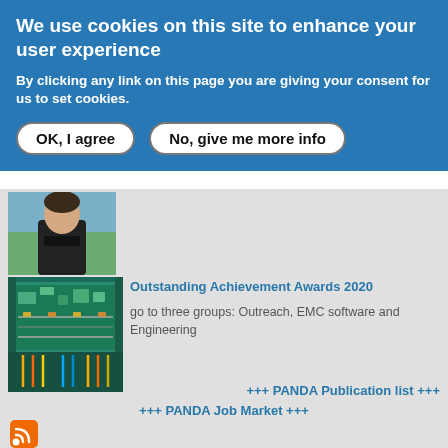We use cookies on this site to enhance your user experience
By clicking any link on this page you are giving your consent for us to set cookies.
OK, I agree
No, give me more info
[Figure (photo): Portrait photo of a person in a black shirt outdoors]
[Figure (photo): Technical/engineering equipment photo showing circuit boards and components in a green container]
Outstanding Achievement Awards 2020
go to three groups: Outreach, EMC software and Engineering
+++ PANDA Publication list +++
+++ PANDA Job Market +++
[Figure (logo): RSS feed icon (orange square with white signal waves)]
+++ PANDA meetings ++
30/05-03/06 2022 CM 22/1+2 in Darmstadt
10/10-14/10 2022 CM 22/3 in Darmstad